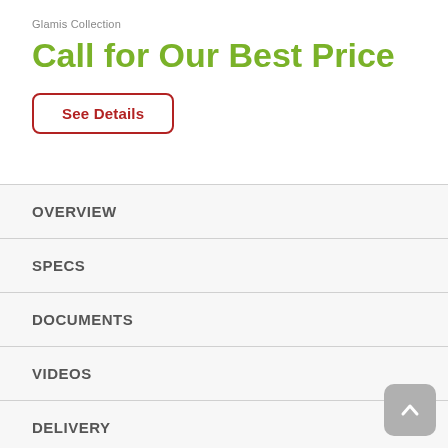Glamis Collection
Call for Our Best Price
See Details
OVERVIEW
SPECS
DOCUMENTS
VIDEOS
DELIVERY
WARRANTY